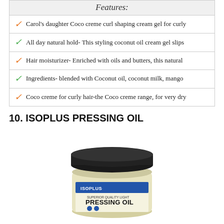Features:
Carol's daughter Coco creme curl shaping cream gel for curly
All day natural hold- This styling coconut oil cream gel slips
Hair moisturizer- Enriched with oils and butters, this natural
Ingredients- blended with Coconut oil, coconut milk, mango
Coco creme for curly hair-the Coco creme range, for very dry
10. ISOPLUS PRESSING OIL
[Figure (photo): A jar of ISOPLUS Superior Quality Light Pressing Oil with a black lid]
Buy On Amazon